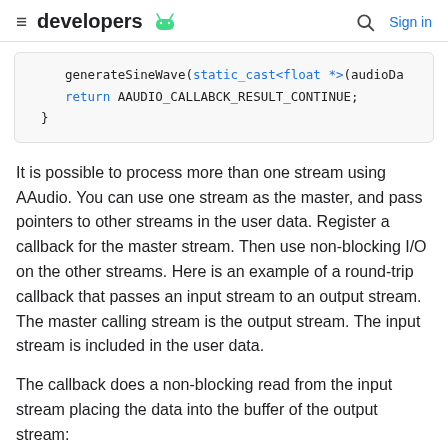developers [android] Sign in
generateSineWave(static_cast<float *>(audioDa
    return AAUDIO_CALLABCK_RESULT_CONTINUE;
}
It is possible to process more than one stream using AAudio. You can use one stream as the master, and pass pointers to other streams in the user data. Register a callback for the master stream. Then use non-blocking I/O on the other streams. Here is an example of a round-trip callback that passes an input stream to an output stream. The master calling stream is the output stream. The input stream is included in the user data.
The callback does a non-blocking read from the input stream placing the data into the buffer of the output stream: